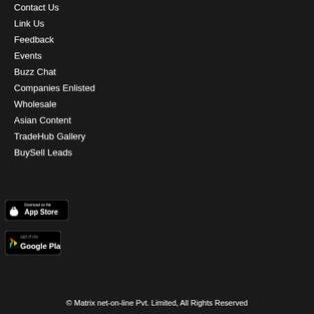Contact Us
Link Us
Feedback
Events
Buzz Chat
Companies Enlisted
Wholesale
Asian Content
TradeHub Gallery
BuySell Leads
[Figure (logo): Download on the App Store badge]
[Figure (logo): Get it on Google Play badge]
© Matrix net-on-line Pvt. Limited, All Rights Reserved